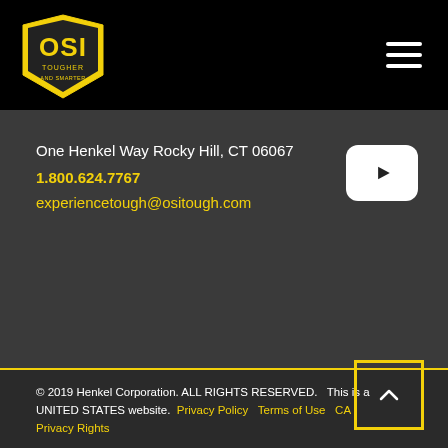OSI Tough logo and navigation menu
One Henkel Way Rocky Hill, CT 06067
1.800.624.7767
experiencetough@ositough.com
[Figure (logo): YouTube play button icon]
© 2019 Henkel Corporation. ALL RIGHTS RESERVED. This is a UNITED STATES website. Privacy Policy  Terms of Use  CA Privacy Rights